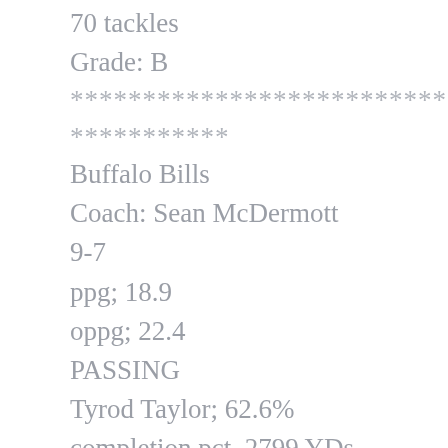70 tackles
Grade: B
***********************************
***********
Buffalo Bills
Coach: Sean McDermott
9-7
ppg; 18.9
oppg; 22.4
PASSING
Tyrod Taylor; 62.6% completion pct, 2799 YDs, 14 TDs, 4 ints, 89.2 passer rating
Taylor still hasn’t been the prime time QB that is needed for Buffalo.